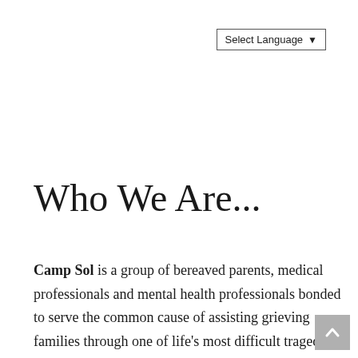Select Language
Who We Are...
Camp Sol is a group of bereaved parents, medical professionals and mental health professionals bonded to serve the common cause of assisting grieving families through one of life's most difficult tragedies, the death of a child. Camp Sol